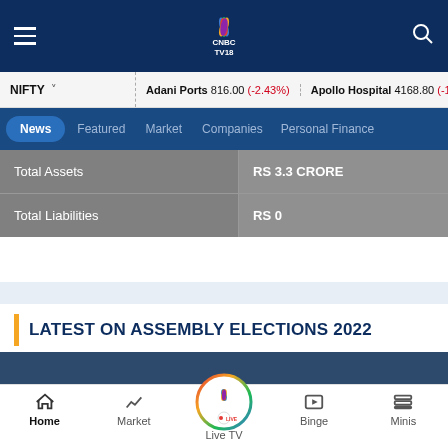CNBC TV18 - Navigation header with logo, hamburger menu and search
NIFTY ▾  |  Adani Ports 816.00 (-2.43%)  |  Apollo Hospital 4168.80 (-1...
News | Featured | Market | Companies | Personal Finance
|  |  |
| --- | --- |
| Total Assets | RS 3.3 CRORE |
| Total Liabilities | RS 0 |
LATEST ON ASSEMBLY ELECTIONS 2022
[Figure (screenshot): Dark blue video thumbnail placeholder]
Home | Market | Live TV | Binge | Minis